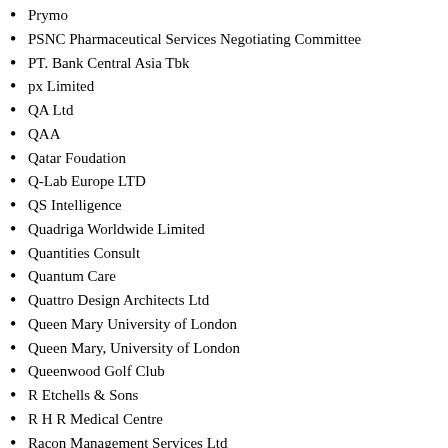Prymo
PSNC Pharmaceutical Services Negotiating Committee
PT. Bank Central Asia Tbk
px Limited
QA Ltd
QAA
Qatar Foudation
Q-Lab Europe LTD
QS Intelligence
Quadriga Worldwide Limited
Quantities Consult
Quantum Care
Quattro Design Architects Ltd
Queen Mary University of London
Queen Mary, University of London
Queenwood Golf Club
R Etchells & Sons
R H R Medical Centre
Racon Management Services Ltd
Rail Track
Rajesh Durg